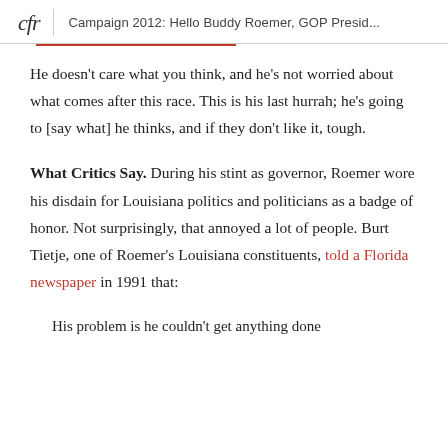cfr  |  Campaign 2012: Hello Buddy Roemer, GOP Presid...
He doesn't care what you think, and he's not worried about what comes after this race. This is his last hurrah; he's going to [say what] he thinks, and if they don't like it, tough.
What Critics Say. During his stint as governor, Roemer wore his disdain for Louisiana politics and politicians as a badge of honor. Not surprisingly, that annoyed a lot of people. Burt Tietje, one of Roemer's Louisiana constituents, told a Florida newspaper in 1991 that:
His problem is he couldn't get anything done because he spent the fight with the Louisiana...